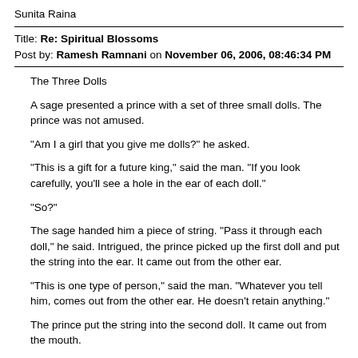Sunita Raina
Title: Re: Spiritual Blossoms
Post by: Ramesh Ramnani on November 06, 2006, 08:46:34 PM
The Three Dolls
A sage presented a prince with a set of three small dolls. The prince was not amused.
"Am I a girl that you give me dolls?" he asked.
"This is a gift for a future king," said the man. "If you look carefully, you'll see a hole in the ear of each doll."
"So?"
The sage handed him a piece of string. "Pass it through each doll," he said. Intrigued, the prince picked up the first doll and put the string into the ear. It came out from the other ear.
"This is one type of person," said the man. "Whatever you tell him, comes out from the other ear. He doesn't retain anything."
The prince put the string into the second doll. It came out from the mouth.
"This is the second type of person," said the man. "Whatever